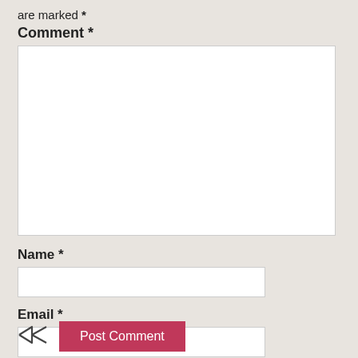are marked *
Comment *
[Figure (other): Large white comment text area input box]
Name *
[Figure (other): Name text input field]
Email *
[Figure (other): Email text input field]
Website
[Figure (other): Website text input field]
Save my name, email, and website in this browser for the next time I comment.
Post Comment